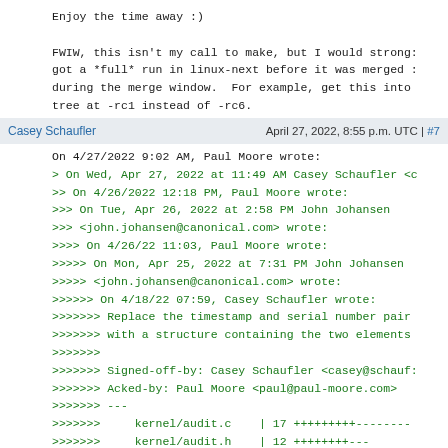Enjoy the time away :)

FWIW, this isn't my call to make, but I would strong: got a *full* run in linux-next before it was merged : during the merge window.  For example, get this into tree at -rc1 instead of -rc6.
Casey Schaufler    April 27, 2022, 8:55 p.m. UTC | #7
On 4/27/2022 9:02 AM, Paul Moore wrote:
> On Wed, Apr 27, 2022 at 11:49 AM Casey Schaufler <c
>> On 4/26/2022 12:18 PM, Paul Moore wrote:
>>> On Tue, Apr 26, 2022 at 2:58 PM John Johansen
>>> <john.johansen@canonical.com> wrote:
>>>> On 4/26/22 11:03, Paul Moore wrote:
>>>>> On Mon, Apr 25, 2022 at 7:31 PM John Johansen
>>>>> <john.johansen@canonical.com> wrote:
>>>>>> On 4/18/22 07:59, Casey Schaufler wrote:
>>>>>>> Replace the timestamp and serial number pair
>>>>>>> with a structure containing the two elements
>>>>>>>
>>>>>>> Signed-off-by: Casey Schaufler <casey@schauf:
>>>>>>> Acked-by: Paul Moore <paul@paul-moore.com>
>>>>>>> ---
>>>>>>>     kernel/audit.c    | 17 +++++++++--------
>>>>>>>     kernel/audit.h    | 12 ++++++++---
>>>>>>>     kernel/auditsc.c  | 22 +++++++++----------
>>>>>>>     3 files changed, 27 insertions(+), 24 dele
>>>> ...
>>>>>